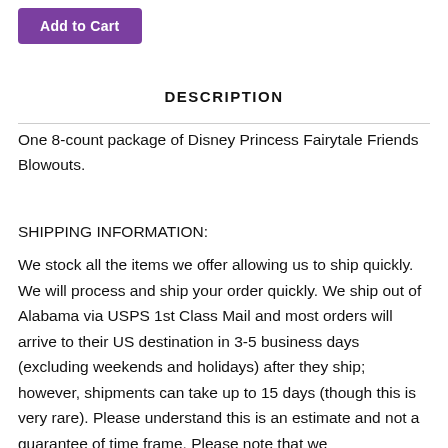[Figure (other): Purple 'Add to Cart' button]
DESCRIPTION
One 8-count package of Disney Princess Fairytale Friends Blowouts.
SHIPPING INFORMATION:
We stock all the items we offer allowing us to ship quickly. We will process and ship your order quickly. We ship out of Alabama via USPS 1st Class Mail and most orders will arrive to their US destination in 3-5 business days (excluding weekends and holidays) after they ship; however, shipments can take up to 15 days (though this is very rare). Please understand this is an estimate and not a guarantee of time frame. Please note that we